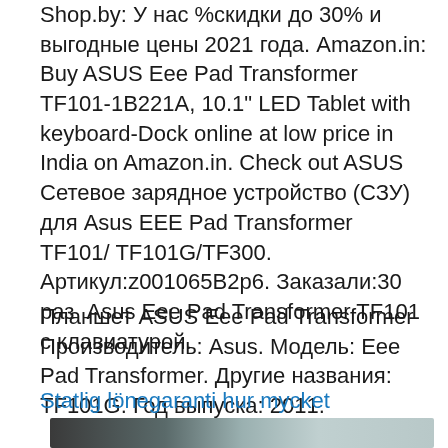Shop.by: У нас %скидки до 30% и выгодные цены 2021 года. Amazon.in: Buy ASUS Eee Pad Transformer TF101-1B221A, 10.1" LED Tablet with keyboard-Dock online at low price in India on Amazon.in. Check out ASUS  Сетевое зарядное устройство (СЗУ) для Asus EEE Pad Transformer TF101/ TF101G/TF300. Артикул:z001065B2p6. Заказали:30 раз  Asus Eee Pad Transformer TF101 с клавиатурой.
Планшет ASUS Eee Pad Transformer Производитель: Asus. Модель: Eee Pad Transformer. Другие названия: TF101G. Год выпуска: 2011.
Statlig lönegaranti hur mycket
[Figure (photo): Partial view of an outdoor winter scene with trees, partially cropped at the bottom of the page.]